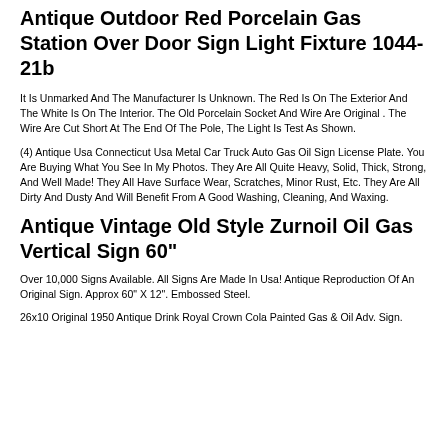Antique Outdoor Red Porcelain Gas Station Over Door Sign Light Fixture 1044-21b
It Is Unmarked And The Manufacturer Is Unknown. The Red Is On The Exterior And The White Is On The Interior. The Old Porcelain Socket And Wire Are Original . The Wire Are Cut Short At The End Of The Pole, The Light Is Test As Shown.
(4) Antique Usa Connecticut Usa Metal Car Truck Auto Gas Oil Sign License Plate. You Are Buying What You See In My Photos. They Are All Quite Heavy, Solid, Thick, Strong, And Well Made! They All Have Surface Wear, Scratches, Minor Rust, Etc. They Are All Dirty And Dusty And Will Benefit From A Good Washing, Cleaning, And Waxing.
Antique Vintage Old Style Zurnoil Oil Gas Vertical Sign 60"
Over 10,000 Signs Available. All Signs Are Made In Usa! Antique Reproduction Of An Original Sign. Approx 60" X 12". Embossed Steel.
26x10 Original 1950 Antique Drink Royal Crown Cola Painted Gas & Oil Adv. Sign.